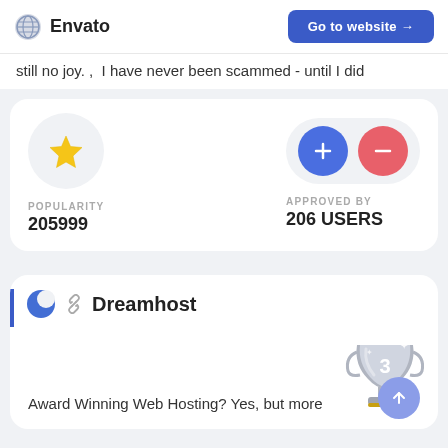Envato  Go to website →
still no joy. , I have never been scammed - until I did
[Figure (infographic): Stats card showing POPULARITY 205999 with a gold star icon, and APPROVED BY 206 USERS with blue plus and red minus vote buttons]
[Figure (infographic): Dreamhost card with moon logo icon, link icon, Dreamhost name, a silver #3 trophy image, scroll-up button, and text: Award Winning Web Hosting? Yes, but more]